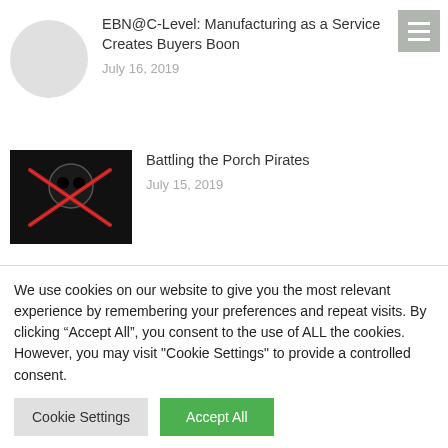EBN@C-Level: Manufacturing as a Service Creates Buyers Boon
July 16, 2019
[Figure (photo): Thumbnail placeholder circle for first article]
Battling the Porch Pirates
July 15, 2019
[Figure (photo): Dark image of a skull with crossed glowing red sabers on black background]
Diamonds May Be the Electronic Supply
[Figure (photo): Partial thumbnail showing gray image for third article]
We use cookies on our website to give you the most relevant experience by remembering your preferences and repeat visits. By clicking “Accept All”, you consent to the use of ALL the cookies. However, you may visit "Cookie Settings" to provide a controlled consent.